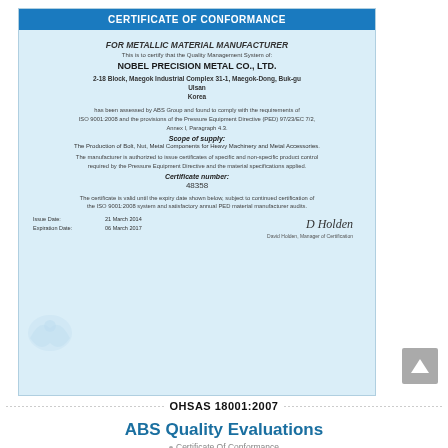CERTIFICATE OF CONFORMANCE
FOR METALLIC MATERIAL MANUFACTURER
This is to certify that the Quality Management System of:
NOBEL PRECISION METAL CO., LTD.
2-18 Block, Maegok Industrial Complex 31-1, Maegok-Dong, Buk-gu
Ulsan
Korea
has been assessed by ABS Group and found to comply with the requirements of ISO 9001:2008 and the provisions of the Pressure Equipment Directive (PED) 97/23/EC 7/2, Annex I, Paragraph 4.3.
Scope of supply:
The Production of Bolt, Nut, Metal Components for Heavy Machinery and Metal Accessories.
The manufacturer is authorized to issue certificates of specific and non-specific product control required by the Pressure Equipment Directive and the material specifications applied.
Certificate number:
48358
The certificate is valid until the expiry date shown below, subject to continued certification of the ISO 9001:2008 system and satisfactory annual PED material manufacturer audits.
Issue Date: 21 March 2014
Expiration Date: 06 March 2017
David Holden, Manager of Certification
OHSAS 18001:2007
ABS Quality Evaluations
Certificate Of Conformance